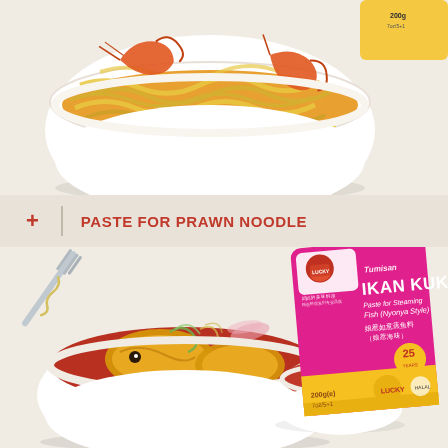[Figure (photo): Top portion of a white bowl containing yellow egg noodles with prawns and a yellow product package partially visible on the right, on a beige/cream background]
+ PASTE FOR PRAWN NOODLE
[Figure (photo): Bowl of steamed fish in red sauce with vegetables, a fork/spoon, alongside a pink/magenta product package labeled 'Tumisan Ikan Kukus - Paste for Steaming Fish (Nyonya Style)' with 200g weight, logo of a cooking pot brand, and a smaller duplicate bowl image behind the package]